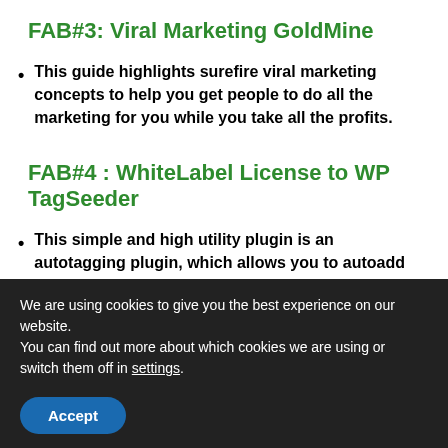FAB#3: Viral Marketing GoldMine
This guide highlights surefire viral marketing concepts to help you get people to do all the marketing for you while you take all the profits.
FAB#4 : WhiteLabel License to WP TagSeeder
This simple and high utility plugin is an autotagging plugin, which allows you to autoadd tags as well add tags manually to posts matching any of the keywords found in the post content from a set of keywords.
We are using cookies to give you the best experience on our website.
You can find out more about which cookies we are using or switch them off in settings.